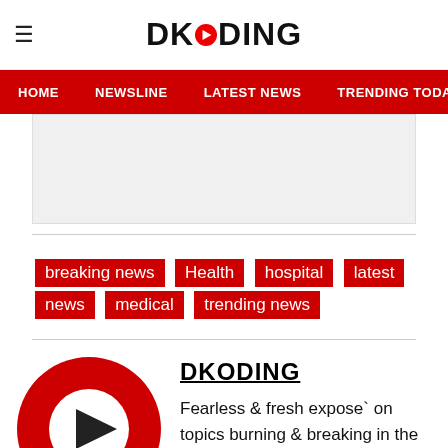DKODING
HOME   NEWSLINE   LATEST NEWS   TRENDING TODAY   ENT
[Figure (other): Advertisement banner placeholder, light gray rectangle]
breaking news
Health
hospital
latest
news
medical
trending news
[Figure (logo): DKODING red circle logo with white play button triangle]
DKODING
Fearless & fresh expose` on topics burning & breaking in the world of Buisness, Politics,